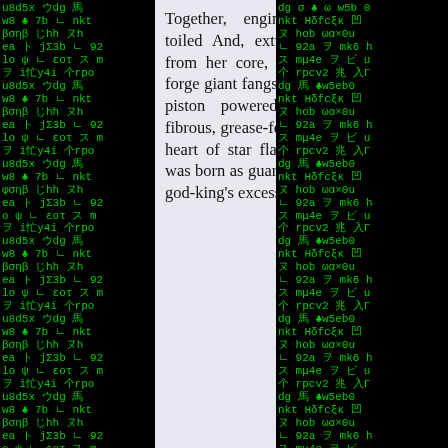[Figure (other): Background matrix-style green characters on black, left column]
Together, engineer and ship toiled And, extracting material from her core, They started to forge giant fangs In double jaws; piston powered. A body of fibrous, grease-fed muscle And a heart of star flame. So Orthrus was born as guardian Against the god-king's excesses.
[Figure (other): Background matrix-style green characters on black, right column]